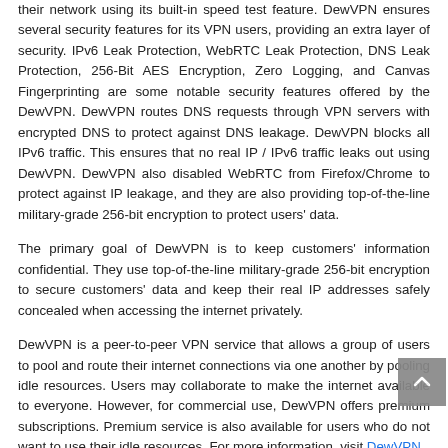their network using its built-in speed test feature. DewVPN ensures several security features for its VPN users, providing an extra layer of security. IPv6 Leak Protection, WebRTC Leak Protection, DNS Leak Protection, 256-Bit AES Encryption, Zero Logging, and Canvas Fingerprinting are some notable security features offered by the DewVPN. DewVPN routes DNS requests through VPN servers with encrypted DNS to protect against DNS leakage. DewVPN blocks all IPv6 traffic. This ensures that no real IP / IPv6 traffic leaks out using DewVPN. DewVPN also disabled WebRTC from Firefox/Chrome to protect against IP leakage, and they are also providing top-of-the-line military-grade 256-bit encryption to protect users' data.
The primary goal of DewVPN is to keep customers' information confidential. They use top-of-the-line military-grade 256-bit encryption to secure customers' data and keep their real IP addresses safely concealed when accessing the internet privately.
DewVPN is a peer-to-peer VPN service that allows a group of users to pool and route their internet connections via one another by pooling idle resources. Users may collaborate to make the internet available to everyone. However, for commercial use, DewVPN offers premium subscriptions. Premium service is also available for users who do not want to use their idle resources. For more information, visit DewVPN.
Media Contact